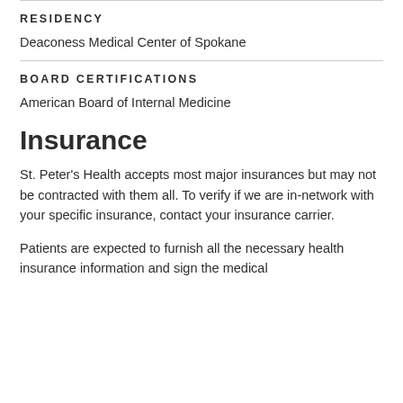RESIDENCY
Deaconess Medical Center of Spokane
BOARD CERTIFICATIONS
American Board of Internal Medicine
Insurance
St. Peter's Health accepts most major insurances but may not be contracted with them all. To verify if we are in-network with your specific insurance, contact your insurance carrier.
Patients are expected to furnish all the necessary health insurance information and sign the medical